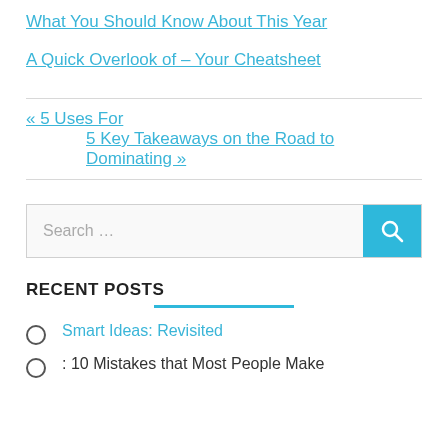What You Should Know About This Year
A Quick Overlook of – Your Cheatsheet
« 5 Uses For
5 Key Takeaways on the Road to Dominating »
[Figure (other): Search box with blue search button and magnifying glass icon]
RECENT POSTS
Smart Ideas: Revisited
: 10 Mistakes that Most People Make